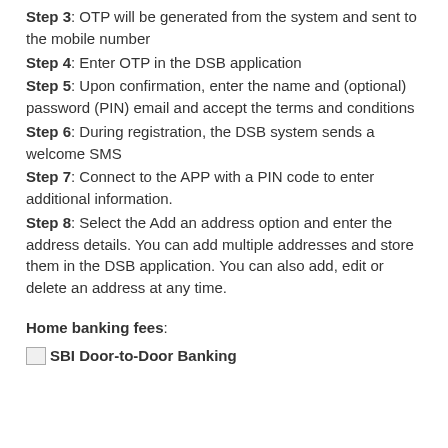Step 3: OTP will be generated from the system and sent to the mobile number
Step 4: Enter OTP in the DSB application
Step 5: Upon confirmation, enter the name and (optional) password (PIN) email and accept the terms and conditions
Step 6: During registration, the DSB system sends a welcome SMS
Step 7: Connect to the APP with a PIN code to enter additional information.
Step 8: Select the Add an address option and enter the address details. You can add multiple addresses and store them in the DSB application. You can also add, edit or delete an address at any time.
Home banking fees:
[Figure (logo): Broken image icon followed by bold text 'SBI Door-to-Door Banking']